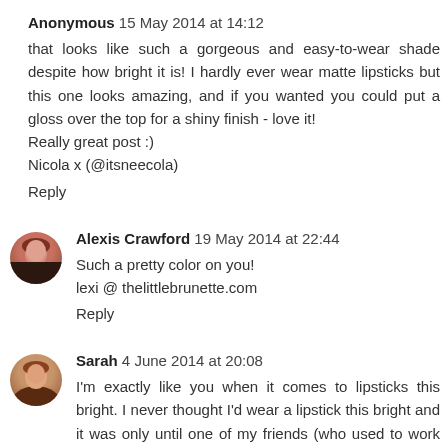Anonymous 15 May 2014 at 14:12
that looks like such a gorgeous and easy-to-wear shade despite how bright it is! I hardly ever wear matte lipsticks but this one looks amazing, and if you wanted you could put a gloss over the top for a shiny finish - love it!
Really great post :)
Nicola x (@itsneecola)
Reply
Alexis Crawford 19 May 2014 at 22:44
Such a pretty color on you!
lexi @ thelittlebrunette.com
Reply
Sarah 4 June 2014 at 20:08
I'm exactly like you when it comes to lipsticks this bright. I never thought I'd wear a lipstick this bright and it was only until one of my friends (who used to work for Mac and has